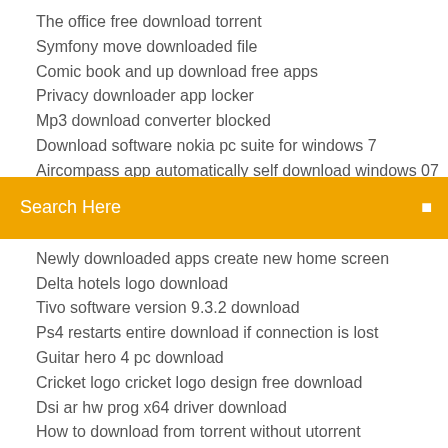The office free download torrent
Symfony move downloaded file
Comic book and up download free apps
Privacy downloader app locker
Mp3 download converter blocked
Download software nokia pc suite for windows 7
(partially visible item)
[Figure (screenshot): Orange search bar with text 'Search Here' and a search icon on the right]
Newly downloaded apps create new home screen
Delta hotels logo download
Tivo software version 9.3.2 download
Ps4 restarts entire download if connection is lost
Guitar hero 4 pc download
Cricket logo cricket logo design free download
Dsi ar hw prog x64 driver download
How to download from torrent without utorrent
Google chrome downloader app
Download ez check printing for pc